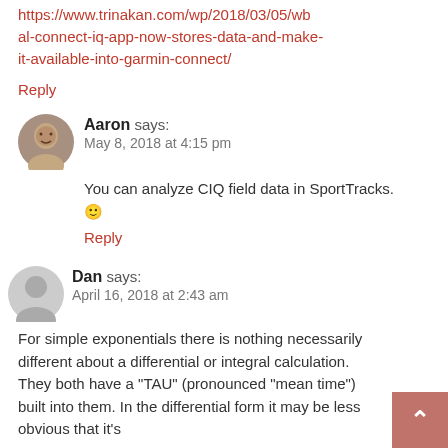https://www.trinakan.com/wp/2018/03/05/wbal-connect-iq-app-now-stores-data-and-make-it-available-into-garmin-connect/
Reply
Aaron says:
May 8, 2018 at 4:15 pm
You can analyze CIQ field data in SportTracks. 🙂
Reply
Dan says:
April 16, 2018 at 2:43 am
For simple exponentials there is nothing necessarily different about a differential or integral calculation. They both have a "TAU" (pronounced "mean time") built into them. In the differential form it may be less obvious that it's